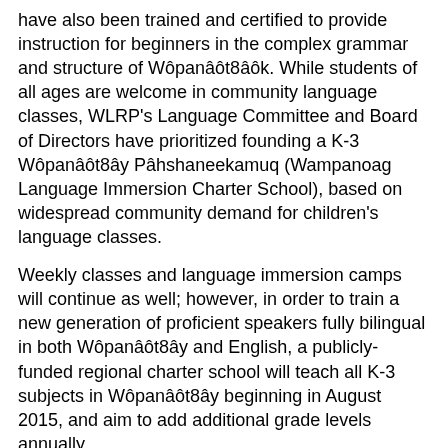have also been trained and certified to provide instruction for beginners in the complex grammar and structure of Wôpanâôt8âôk. While students of all ages are welcome in community language classes, WLRP's Language Committee and Board of Directors have prioritized founding a K-3 Wôpanâôt8ây Pâhshaneekamuq (Wampanoag Language Immersion Charter School), based on widespread community demand for children's language classes.
Weekly classes and language immersion camps will continue as well; however, in order to train a new generation of proficient speakers fully bilingual in both Wôpanâôt8ây and English, a publicly-funded regional charter school will teach all K-3 subjects in Wôpanâôt8ây beginning in August 2015, and aim to add additional grade levels annually.
It is our deep belief that it is through our children and their language acquisition that the long term sustainability of our language can be ensured.